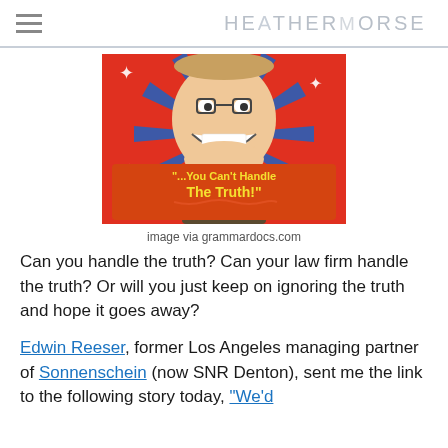HEATHER MORSE
[Figure (illustration): Cartoon illustration of a man with exaggerated grin and the text '"...You Can't Handle The Truth!"' on a red white and blue starburst background]
image via grammardocs.com
Can you handle the truth? Can your law firm handle the truth? Or will you just keep on ignoring the truth and hope it goes away?
Edwin Reeser, former Los Angeles managing partner of Sonnenschein (now SNR Denton), sent me the link to the following story today, "We'd